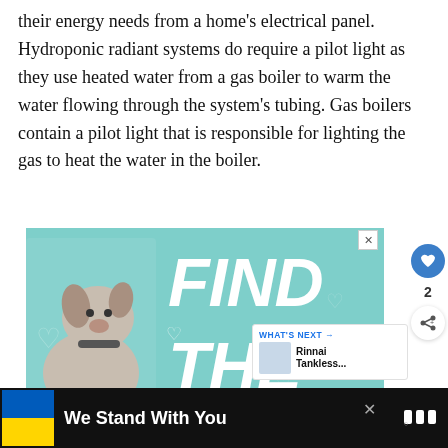their energy needs from a home's electrical panel. Hydroponic radiant systems do require a pilot light as they use heated water from a gas boiler to warm the water flowing through the system's tubing. Gas boilers contain a pilot light that is responsible for lighting the gas to heat the water in the boiler.
[Figure (illustration): Advertisement banner featuring a Great Dane dog with text 'FIND THE ONE' on a teal/mint green background, with a close button (X) in the top right corner.]
[Figure (infographic): Sidebar UI elements: a blue circle heart icon, the number 2, and a share icon button.]
[Figure (screenshot): 'WHAT'S NEXT' widget showing a thumbnail and text 'Rinnai Tankless...']
[Figure (infographic): Bottom banner with Ukraine flag colors (blue and yellow), bold white text 'We Stand With You', a close X button, and a logo on the right.]